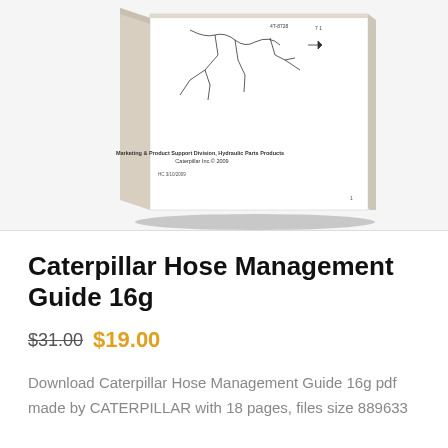[Figure (photo): A Caterpillar technical manual/book shown at an angle, partially cropped. The visible page shows a schematic diagram with part number 4T-8728 and text reading 'Marketing & Product Support Division, Hydraulic Parts Products, Caterpillar Inc.© 2009', with a date '3/10/2009' and page number '1'.]
Caterpillar Hose Management Guide 16g
$31.00 $19.00
Download Caterpillar Hose Management Guide 16g pdf made by CATERPILLAR with 18 pages, files size 889633